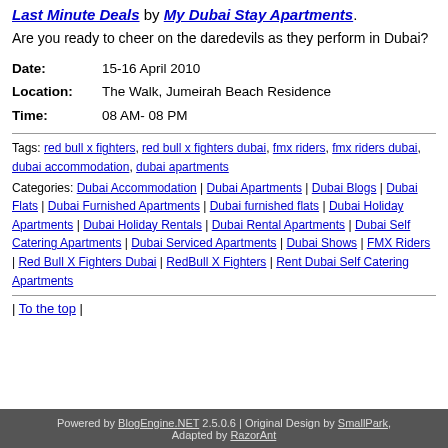Last Minute Deals by My Dubai Stay Apartments.
Are you ready to cheer on the daredevils as they perform in Dubai?
Date: 15-16 April 2010
Location: The Walk, Jumeirah Beach Residence
Time: 08 AM- 08 PM
Tags: red bull x fighters, red bull x fighters dubai, fmx riders, fmx riders dubai, dubai accommodation, dubai apartments
Categories: Dubai Accommodation | Dubai Apartments | Dubai Blogs | Dubai Flats | Dubai Furnished Apartments | Dubai furnished flats | Dubai Holiday Apartments | Dubai Holiday Rentals | Dubai Rental Apartments | Dubai Self Catering Apartments | Dubai Serviced Apartments | Dubai Shows | FMX Riders | Red Bull X Fighters Dubai | RedBull X Fighters | Rent Dubai Self Catering Apartments
| To the top |
Powered by BlogEngine.NET 2.5.0.6 | Original Design by SmallPark, Adapted by RazorAnt